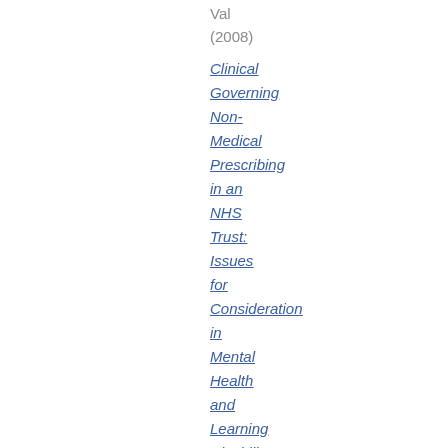Val
(2008)
Clinical Governing Non-Medical Prescribing in an NHS Trust: Issues for Consideration in Mental Health and Learning Disability.
Mental Health